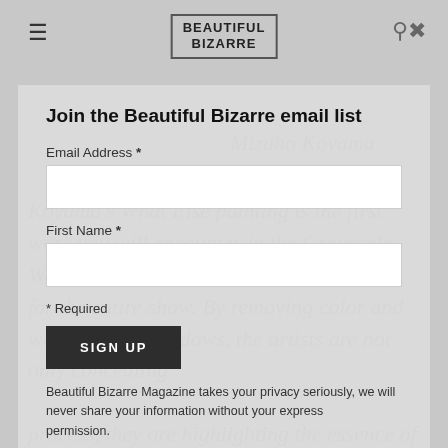BEAUTIFUL BIZARRE
Join the Beautiful Bizarre email list
Mizuho Koyama
Email Address *
First Name *
* Required
SIGN UP
Beautiful Bizarre Magazine takes your privacy seriously, we will never share your information without your express permission.
Koyama's What Else painting is the first work you will encounter in the Grayscale Wonderland, and its concept sets the tone for the entire show. By removing color and working with shadows, the artists are not only concealing process, they are highlighting the essence of the images they have captured. The darkness takes, but it also gives.